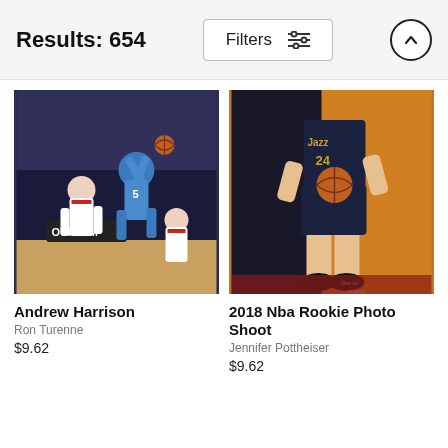Results: 654
Filters
[Figure (photo): Basketball action photo: Andrew Harrison of Memphis Grizzlies leaping to shoot over Toronto Raptors defenders in arena game]
Andrew Harrison
Ron Turenne
$9.62
[Figure (photo): Studio portrait photo: NBA player in Utah Jazz uniform #24 holding basketball, headless from below neck, against dark blue and orange studio background. Fine Art America watermark visible.]
2018 Nba Rookie Photo Shoot
Jennifer Pottheiser
$9.62